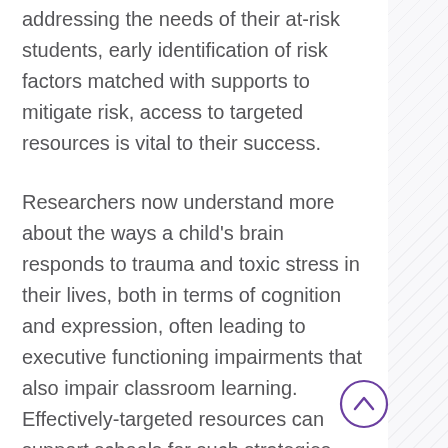addressing the needs of their at-risk students, early identification of risk factors matched with supports to mitigate risk, access to targeted resources is vital to their success.
Researchers now understand more about the ways a child's brain responds to trauma and toxic stress in their lives, both in terms of cognition and expression, often leading to executive functioning impairments that also impair classroom learning. Effectively-targeted resources can support schools for such strategies.
As Nevada educators work hard to become the fastest-improving state in the nation for